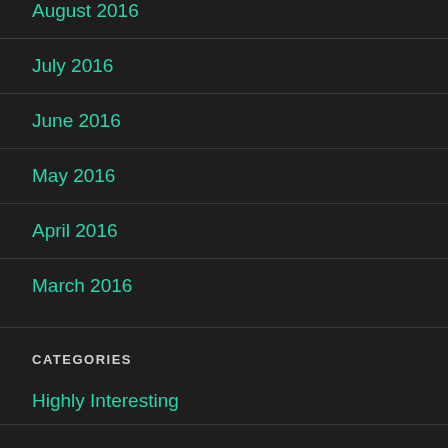August 2016
July 2016
June 2016
May 2016
April 2016
March 2016
CATEGORIES
Highly Interesting